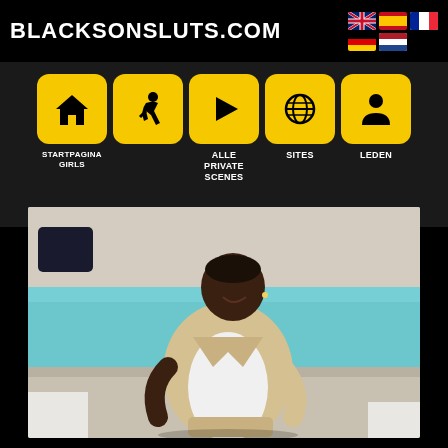BLACKSONSLUTS.COM
[Figure (screenshot): Navigation bar with 5 yellow icon buttons: home, girl silhouette, play button, globe, person. Labels: STARTPAGINAGIRLS, ALLE PRIVATE SCENES, SITES, LEDEN]
[Figure (photo): A smiling Black man in beige jacket and white t-shirt sitting by a pool with clear blue water, marble wall in background, with white-clad figures partially visible on either side]